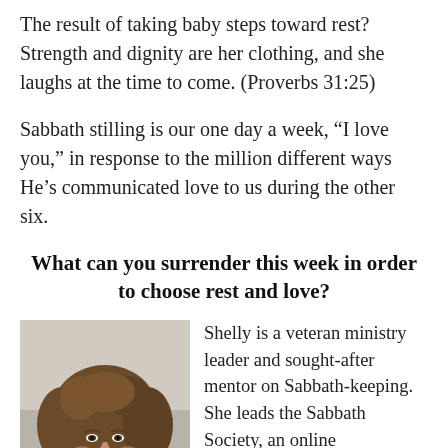The result of taking baby steps toward rest? Strength and dignity are her clothing, and she laughs at the time to come. (Proverbs 31:25)
Sabbath stilling is our one day a week, “I love you,” in response to the million different ways He’s communicated love to us during the other six.
What can you surrender this week in order to choose rest and love?
[Figure (photo): Portrait photo of a woman with curly brown hair wearing a black outfit, smiling, with a blurred outdoor background.]
Shelly is a veteran ministry leader and sought-after mentor on Sabbath-keeping. She leads the Sabbath Society, an online